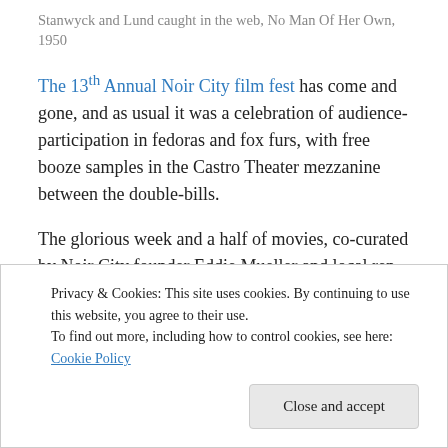Stanwyck and Lund caught in the web, No Man Of Her Own, 1950
The 13th Annual Noir City film fest has come and gone, and as usual it was a celebration of audience-participation in fedoras and fox furs, with free booze samples in the Castro Theater mezzanine between the double-bills.
The glorious week and a half of movies, co-curated by Noir City founder Eddie Mueller and local rep movie queen Anita Monga (she also programs the Silent Film Festival), featured bleakness, backstabbing, angst, and deceit, with
Privacy & Cookies: This site uses cookies. By continuing to use this website, you agree to their use.
To find out more, including how to control cookies, see here: Cookie Policy
Close and accept